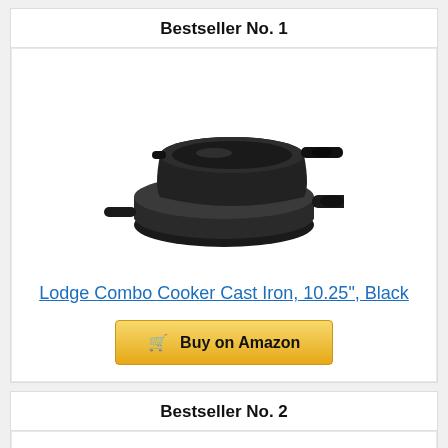Bestseller No. 1
[Figure (photo): Lodge Combo Cooker Cast Iron cookware set — a deep skillet/pot on top of a flat skillet pan, both black cast iron]
Lodge Combo Cooker Cast Iron, 10.25", Black
Buy on Amazon
Bestseller No. 2
[Figure (photo): Cast iron skillet with a Cast Iron recipe book placed on it, with oven mitts, partially visible]